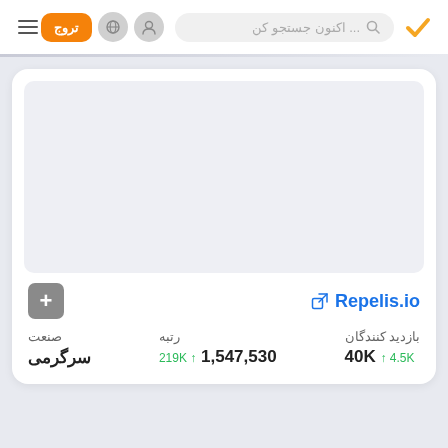تروج ... اکنون جستجو کن
[Figure (screenshot): App screenshot area - blank/loading state, light gray rectangle]
Repelis.io
| بازدید کنندگان | رتبه | صنعت |
| --- | --- | --- |
| 40K ↑ 4.5K | 1,547,530 ↑ 219K | سرگرمی |